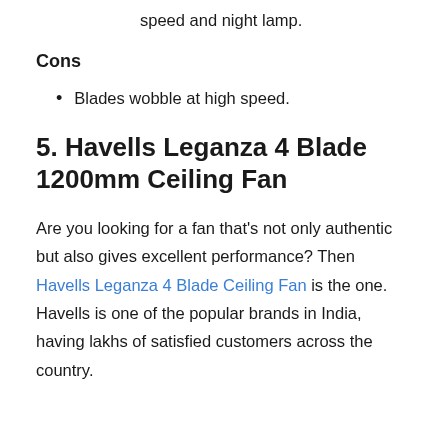speed and night lamp.
Cons
Blades wobble at high speed.
5. Havells Leganza 4 Blade 1200mm Ceiling Fan
Are you looking for a fan that's not only authentic but also gives excellent performance? Then Havells Leganza 4 Blade Ceiling Fan is the one. Havells is one of the popular brands in India, having lakhs of satisfied customers across the country.